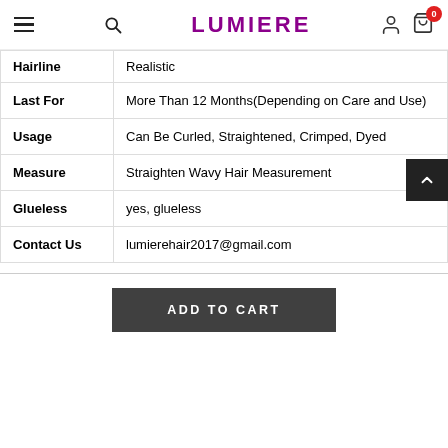LUMIERE
| Hairline | Realistic |
| Last For | More Than 12 Months(Depending on Care and Use) |
| Usage | Can Be Curled, Straightened, Crimped, Dyed |
| Measure | Straighten Wavy Hair Measurement |
| Glueless | yes, glueless |
| Contact Us | lumierehair2017@gmail.com |
ADD TO CART